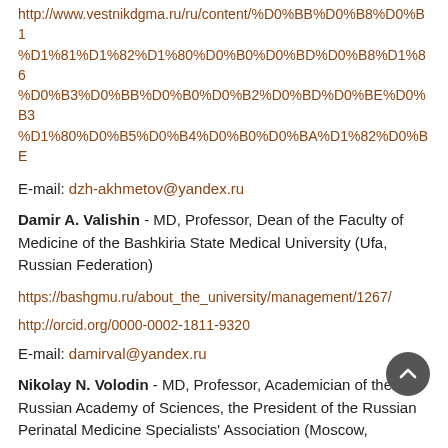http://www.vestnikdgma.ru/ru/content/%D0%BB%D0%B8%D1%81%D1%82%D1%80%D0%B0%D0%BD%D0%B8%D1%86%D0%B3%D0%BB%D0%B0%D0%B2%D0%BD%D0%BE%D0%B3%D0%BB%D0%B0%D0%B2%D0%BD%D0%BE%D0%B9%D1%80%D0%B5%D0%B4%D0%B0%D0%BA%D1%82%D0%BE%D1%80
E-mail: dzh-akhmetov@yandex.ru
Damir A. Valishin - MD, Professor, Dean of the Faculty of Medicine of the Bashkiria State Medical University (Ufa, Russian Federation)
https://bashgmu.ru/about_the_university/management/1267/
http://orcid.org/0000-0002-1811-9320
E-mail: damirval@yandex.ru
Nikolay N. Volodin - MD, Professor, Academician of the Russian Academy of Sciences, the President of the Russian Perinatal Medicine Specialists' Association (Moscow,